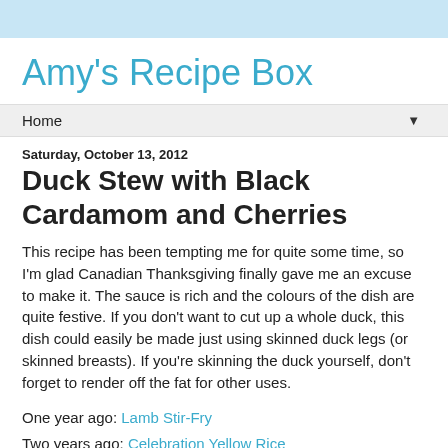Amy's Recipe Box
Home
Saturday, October 13, 2012
Duck Stew with Black Cardamom and Cherries
This recipe has been tempting me for quite some time, so I'm glad Canadian Thanksgiving finally gave me an excuse to make it. The sauce is rich and the colours of the dish are quite festive. If you don't want to cut up a whole duck, this dish could easily be made just using skinned duck legs (or skinned breasts). If you're skinning the duck yourself, don't forget to render off the fat for other uses.
One year ago: Lamb Stir-Fry
Two years ago: Celebration Yellow Rice